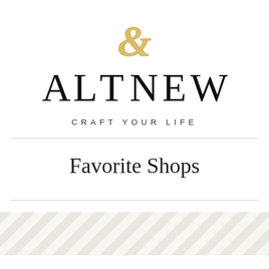[Figure (logo): Altenew logo with gold ampersand above, black serif lettering spelling ALTENEW, and tagline CRAFT YOUR LIFE in spaced capitals below]
Favorite Shops
[Figure (illustration): Diagonal stripe decorative band pattern in light beige/gray on white background]